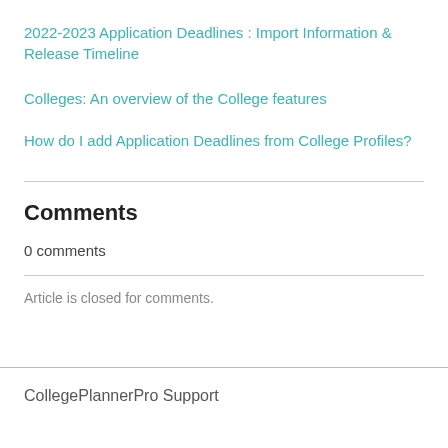2022-2023 Application Deadlines : Import Information & Release Timeline
Colleges: An overview of the College features
How do I add Application Deadlines from College Profiles?
Comments
0 comments
Article is closed for comments.
CollegePlannerPro Support